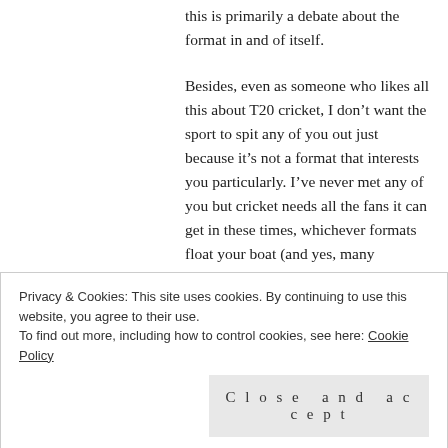this is primarily a debate about the format in and of itself.
Besides, even as someone who likes all this about T20 cricket, I don't want the sport to spit any of you out just because it's not a format that interests you particularly. I've never met any of you but cricket needs all the fans it can get in these times, whichever formats float your boat (and yes, many administrators may
Privacy & Cookies: This site uses cookies. By continuing to use this website, you agree to their use.
To find out more, including how to control cookies, see here: Cookie Policy
Close and accept
“wailing traditionalist” for not liking